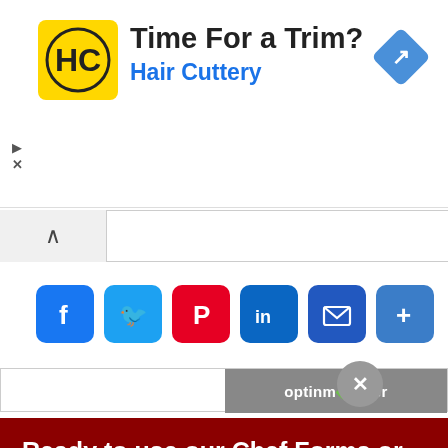[Figure (other): Hair Cuttery advertisement banner with yellow HC logo square, text 'Time For a Trim?' and 'Hair Cuttery' in blue, and a blue diamond navigation icon on the right. Small play and X controls on the left.]
[Figure (other): Collapse/accordion tab bar with an upward chevron arrow on the left tab]
[Figure (other): Social sharing buttons row: Facebook (blue f), Twitter (blue bird), Pinterest (red P), LinkedIn (blue in), Email (blue envelope), More (blue +)]
[Figure (other): OptinMonster branded gray bar with monster icon and close X button]
Ready to use our Chef Forms or Video Tutorials?
Choose your Subscription level to access our exclusive content for Chefs.
YES, TELL ME MORE!